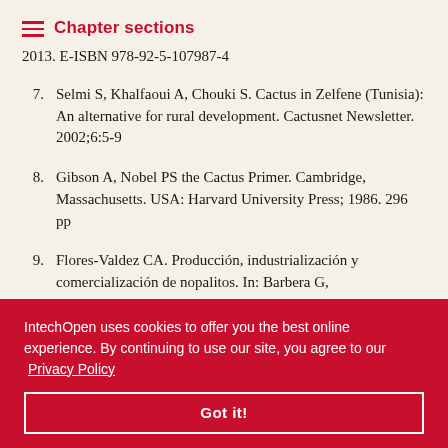Chapter sections
2013. E-ISBN 978-92-5-107987-4
7. Selmi S, Khalfaoui A, Chouki S. Cactus in Zelfene (Tunisia): An alternative for rural development. Cactusnet Newsletter. 2002;6:5-9
8. Gibson A, Nobel PS the Cactus Primer. Cambridge, Massachusetts. USA: Harvard University Press; 1986. 296 pp
9. Flores-Valdez CA. Producción, industrialización y comercialización de nopalitos. In: Barbera G, ecología, 1999. pp. 97-
onmental (Opuntia spp.) fruit yield in Limpopo Province, South Africa
IntechOpen uses cookies to offer you the best online experience. By continuing to use our site, you agree to our Privacy Policy
Got it!